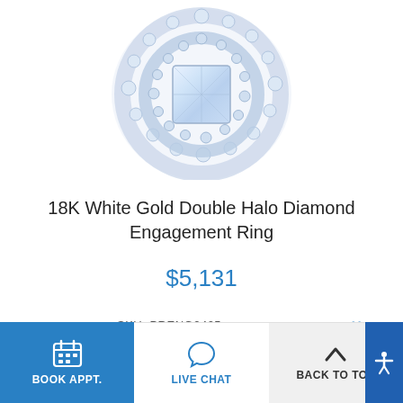[Figure (photo): Close-up product photo of an 18K white gold double halo diamond engagement ring with a princess-cut center stone surrounded by two halos of pavé-set round diamonds, on a white background.]
18K White Gold Double Halo Diamond Engagement Ring
$5,131
SKU PRENG2405
BOOK APPT.   LIVE CHAT   BACK TO TOP